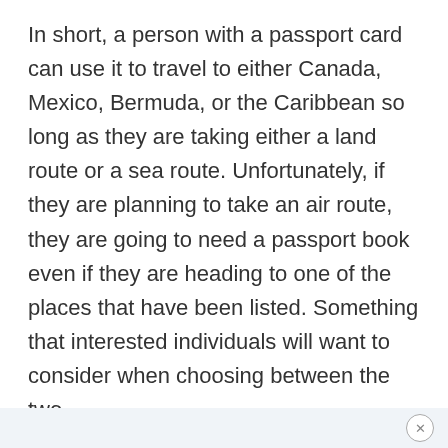In short, a person with a passport card can use it to travel to either Canada, Mexico, Bermuda, or the Caribbean so long as they are taking either a land route or a sea route. Unfortunately, if they are planning to take an air route, they are going to need a passport book even if they are heading to one of the places that have been listed. Something that interested individuals will want to consider when choosing between the two.